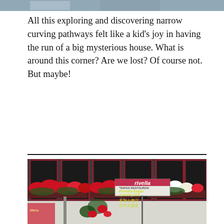[Figure (photo): Partial top edge of a photo, cut off at top of page]
All this exploring and discovering narrow curving pathways felt like a kid's joy in having the run of a big mysterious house. What is around this corner? Are we lost? Of course not. But maybe!
[Figure (photo): Photo of a Swiss restaurant exterior with red flower window boxes and a sign reading 'rivella' and 'SWISS RESTAURANT Provides English Speaking Staff' with Chinese characters below]